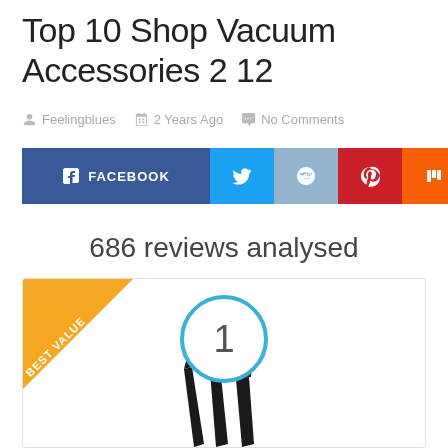Top 10 Shop Vacuum Accessories 2 12
Feelingblues   2 Years Ago   No Comments
[Figure (infographic): Social sharing buttons: Facebook, Twitter, Reddit, Pinterest, Mix, Email]
686 reviews analysed
[Figure (infographic): Product card showing rank #1 with Best Value banner and a shop vacuum accessory image (nozzle/crevice tools)]